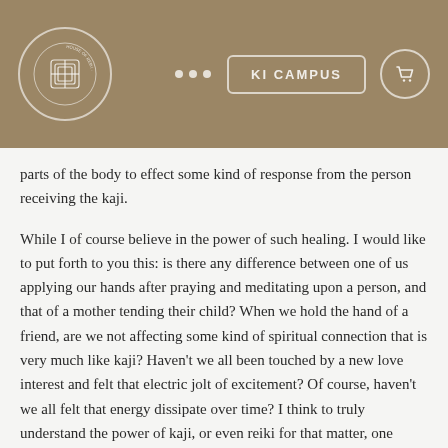International House of Reiki — KI CAMPUS
parts of the body to effect some kind of response from the person receiving the kaji.
While I of course believe in the power of such healing. I would like to put forth to you this: is there any difference between one of us applying our hands after praying and meditating upon a person, and that of a mother tending their child? When we hold the hand of a friend, are we not affecting some kind of spiritual connection that is very much like kaji? Haven't we all been touched by a new love interest and felt that electric jolt of excitement? Of course, haven't we all felt that energy dissipate over time? I think to truly understand the power of kaji, or even reiki for that matter, one needs to understand themselves fully. Where does our power come from? Are there ulterior motives behind our wanting to apply touch or prayer for another? As a Buddhist, those questions never cease.
As a Shingon practitioner, I can tell you that I have experienced many different forms of kaji, ranging from one on one